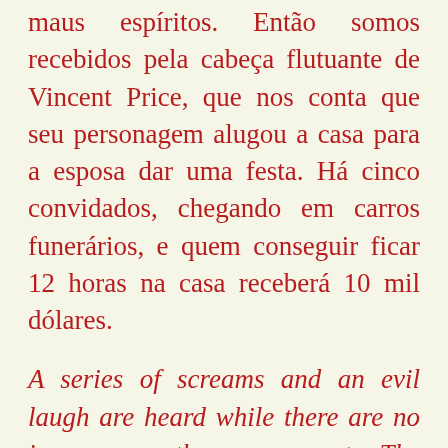maus espíritos. Então somos recebidos pela cabeça flutuante de Vincent Price, que nos conta que seu personagem alugou a casa para a esposa dar uma festa. Há cinco convidados, chegando em carros funerários, e quem conseguir ficar 12 horas na casa receberá 10 mil dólares.
A series of screams and an evil laugh are heard while there are no images on the screen yet. The audience is already on the edge of their seats. The first thing we see is the floating head of Elisha Cook Jr, playing Watson Pritchard, whose brother was killed while staying at the house on haunted hill. Then we're greeted by Vincent Price's floating head, who tells that his character rented the house